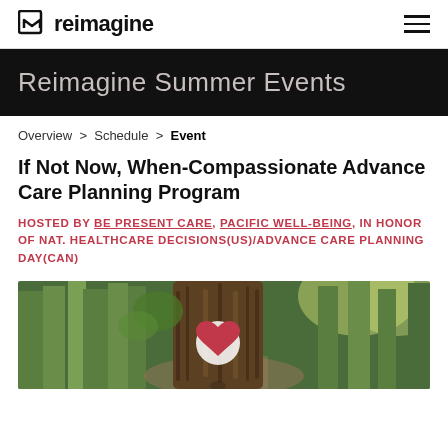reimagine
Reimagine Summer Events
Overview > Schedule > Event
If Not Now, When-Compassionate Advance Care Planning Program
HOSTED BY BE PRESENT CARE, PACIFIC WELL-BEING, IN HONOR OF NAT. HEALTHCARE DECISIONS(US)/ADVANCE CARE PLANNING DAY(CAN)
[Figure (photo): Forest path with large tree trunk in foreground featuring a painted white heart symbol with red heart inside. Lush green forest background with light filtering through trees.]